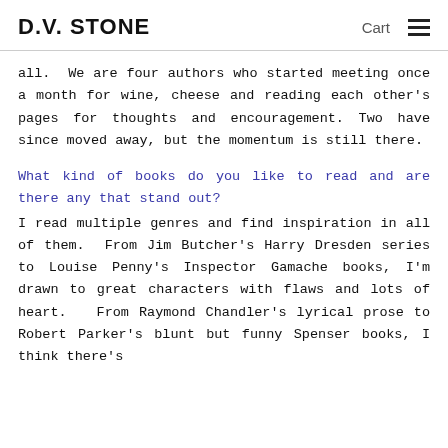D.V. STONE    Cart ≡
all.  We are four authors who started meeting once a month for wine, cheese and reading each other's pages for thoughts and encouragement. Two have since moved away, but the momentum is still there.
What kind of books do you like to read and are there any that stand out?
I read multiple genres and find inspiration in all of them.  From Jim Butcher's Harry Dresden series to Louise Penny's Inspector Gamache books, I'm drawn to great characters with flaws and lots of heart.  From Raymond Chandler's lyrical prose to Robert Parker's blunt but funny Spenser books, I think there's